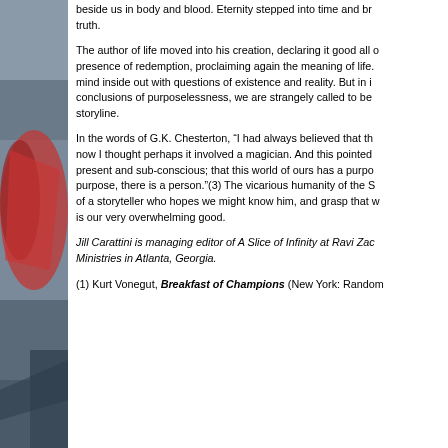[Figure (photo): Left-side decorative image strip showing abstract reddish and grey tones, partially visible]
beside us in body and blood. Eternity stepped into time and br... truth.
The author of life moved into his creation, declaring it good all o... presence of redemption, proclaiming again the meaning of life.... mind inside out with questions of existence and reality. But in i... conclusions of purposelessness, we are strangely called to be... storyline.
In the words of G.K. Chesterton, “I had always believed that th... now I thought perhaps it involved a magician. And this pointed... present and sub-conscious; that this world of ours has a purpos... purpose, there is a person.”(3) The vicarious humanity of the S... of a storyteller who hopes we might know him, and grasp that w... is our very overwhelming good.
Jill Carattini is managing editor of A Slice of Infinity at Ravi Zac... Ministries in Atlanta, Georgia.
(1) Kurt Vonegut, Breakfast of Champions (New York: Random...